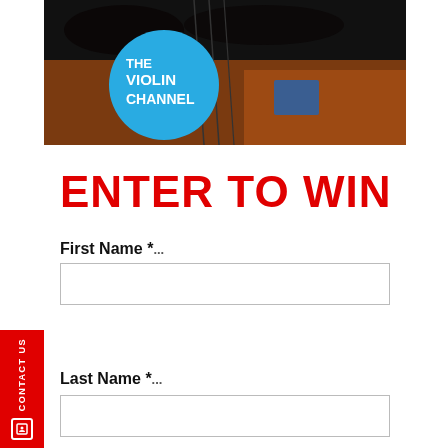[Figure (photo): The Violin Channel promotional image showing violin strings/instruments with a blue circle logo overlay reading 'THE VIOLIN CHANNEL']
ENTER TO WIN
First Name *
Last Name *